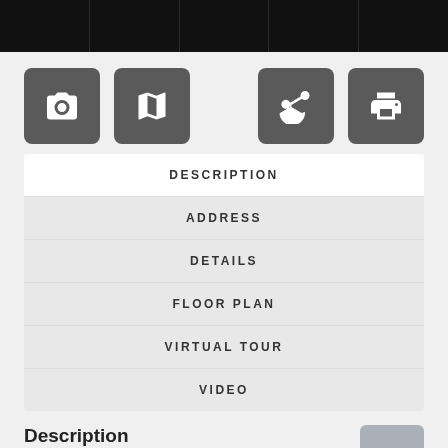[Figure (screenshot): Top navigation bar with 5 dark segments (photo, map, share, print icons)]
[Figure (screenshot): Icon button row: camera icon, map icon, share icon, print icon on dark gray rounded square buttons]
DESCRIPTION
ADDRESS
DETAILS
FLOOR PLAN
VIRTUAL TOUR
VIDEO
Description
Available from 01/04/2023